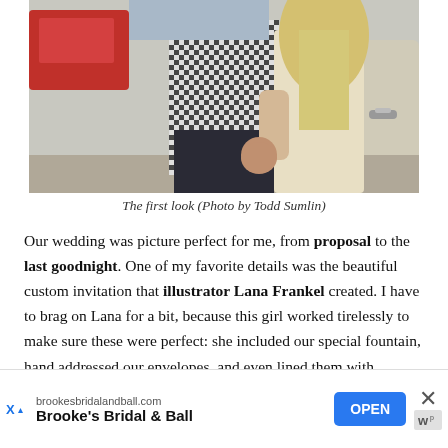[Figure (photo): A couple standing near a car. The man wears a checkered shirt and dark pants; the woman has long blonde hair and wears a light-colored sleeveless dress. A red car and a silver car door are visible in the background.]
The first look (Photo by Todd Sumlin)
Our wedding was picture perfect for me, from proposal to the last goodnight. One of my favorite details was the beautiful custom invitation that illustrator Lana Frankel created. I have to brag on Lana for a bit, because this girl worked tirelessly to make sure these were perfect: she included our special fountain, hand addressed our envelopes, and even lined them with metallic art deco inspired paper (to match my vintage ring)! She went above
[Figure (other): Advertisement banner for Brooke's Bridal & Ball. Shows brookesbridalandball.com URL, brand name in bold, an OPEN button in blue, a close X button, and a logo with W.]